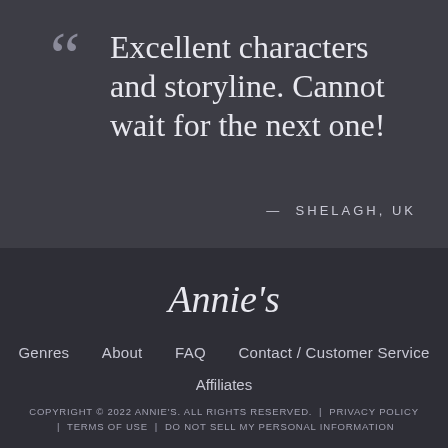Excellent characters and storyline. Cannot wait for the next one!
— SHELAGH, UK
[Figure (logo): Annie's script logo in white]
Genres   About   FAQ   Contact / Customer Service   Affiliates
COPYRIGHT © 2022 ANNIE'S. ALL RIGHTS RESERVED. | PRIVACY POLICY | TERMS OF USE | DO NOT SELL MY PERSONAL INFORMATION